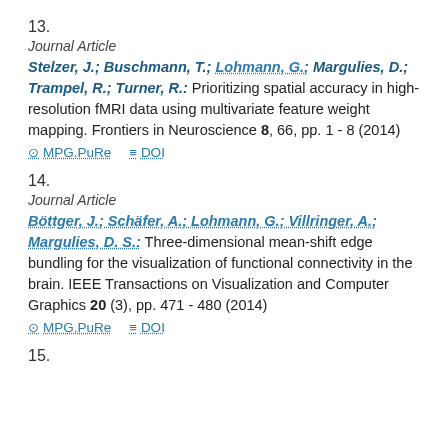13.
Journal Article
Stelzer, J.; Buschmann, T.; Lohmann, G.; Margulies, D.; Trampel, R.; Turner, R.: Prioritizing spatial accuracy in high-resolution fMRI data using multivariate feature weight mapping. Frontiers in Neuroscience 8, 66, pp. 1 - 8 (2014)
MPG.PuRe   DOI
14.
Journal Article
Böttger, J.; Schäfer, A.; Lohmann, G.; Villringer, A.; Margulies, D. S.: Three-dimensional mean-shift edge bundling for the visualization of functional connectivity in the brain. IEEE Transactions on Visualization and Computer Graphics 20 (3), pp. 471 - 480 (2014)
MPG.PuRe   DOI
15.